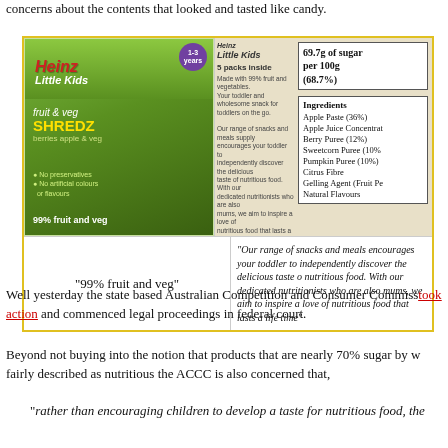concerns about the contents that looked and tasted like candy.
[Figure (photo): Heinz Little Kids Fruit & Veg Shredz product box (front and back), with callout boxes showing '69.7g of sugar per 100g (68.7%)' and ingredients list. Caption areas below show '"99% fruit and veg"' and a marketing quote about encouraging toddlers.]
Well yesterday the state based Australian Competition and Consumer Commission took action and commenced legal proceedings in federal court.
Beyond not buying into the notion that products that are nearly 70% sugar by w fairly described as nutritious the ACCC is also concerned that,
"rather than encouraging children to develop a taste for nutritious food, th